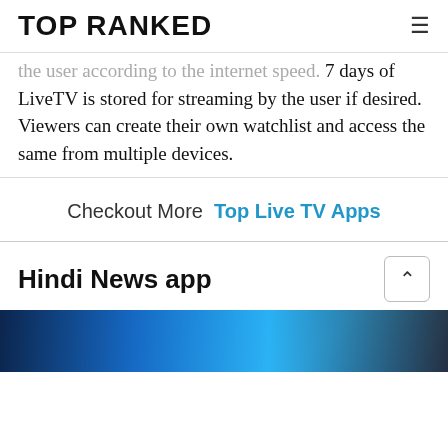TOP RANKED
the user according to the internet speed. 7 days of LiveTV is stored for streaming by the user if desired. Viewers can create their own watchlist and access the same from multiple devices.
Checkout More  Top Live TV Apps
Hindi News app
[Figure (photo): Dark blue themed image, likely showing a smartphone or tablet with a news app interface]